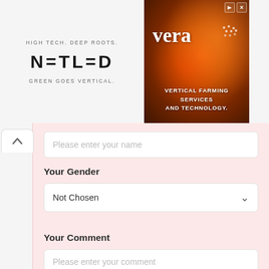[Figure (logo): Netled company logo with taglines: HIGH TECH. DEEP ROOTS. / NETLED / GREEN GOES VERTICAL.]
[Figure (photo): Vera vertical farming advertisement banner with face illuminated in orange/red tones, text: vera VERTICAL FARMING SERVICES AND TECHNOLOGY.]
Please enter your name
Your Gender
Not Chosen
Your Comment
Please enter your comment